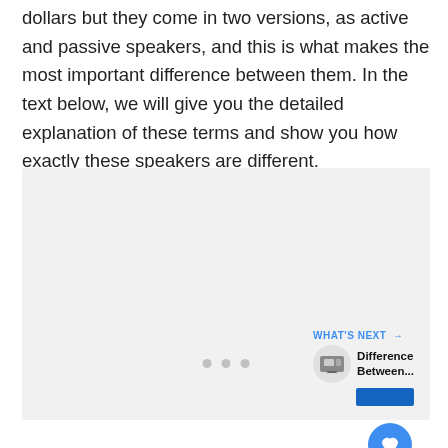dollars but they come in two versions, as active and passive speakers, and this is what makes the most important difference between them. In the text below, we will give you the detailed explanation of these terms and show you how exactly these speakers are different.
[Figure (other): Light gray rectangular image/content area with carousel navigation dots at the bottom center, a blue circular heart/favorite button at the right, a white circular share button below it, and a 'What's Next' panel in the bottom-right corner showing a thumbnail and text 'Difference Between...' with a blue button.]